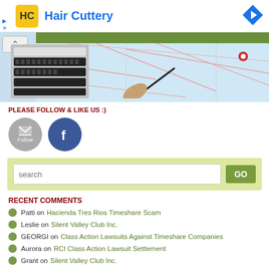[Figure (screenshot): Hair Cuttery advertisement banner with logo and arrow icon]
[Figure (photo): Banner image showing a keyboard and a hand with pen writing on a map with green header bar]
PLEASE FOLLOW & LIKE US :)
[Figure (other): Follow (email) and Facebook social media icons]
[Figure (other): Search box with GO button on light green background]
RECENT COMMENTS
Patti on Hacienda Tres Rios Timeshare Scam
Leslie on Silent Valley Club Inc.
GEORGI on Class Action Lawsuits Against Timeshare Companies
Aurora on RCI Class Action Lawsuit Settlement
Grant on Silent Valley Club Inc.